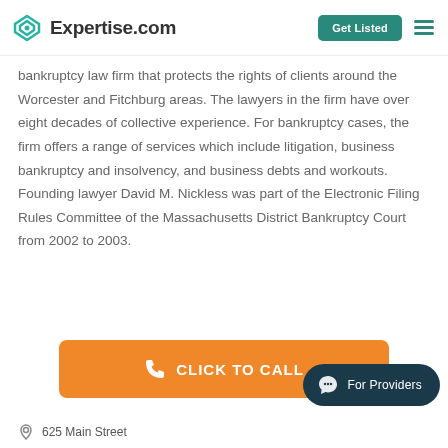Expertise.com | Get Listed
bankruptcy law firm that protects the rights of clients around the Worcester and Fitchburg areas. The lawyers in the firm have over eight decades of collective experience. For bankruptcy cases, the firm offers a range of services which include litigation, business bankruptcy and insolvency, and business debts and workouts. Founding lawyer David M. Nickless was part of the Electronic Filing Rules Committee of the Massachusetts District Bankruptcy Court from 2002 to 2003.
[Figure (other): Orange call-to-action button with phone icon and text CLICK TO CALL]
[Figure (other): Dark teal For Providers chat bubble button in bottom right corner]
625 Main Street